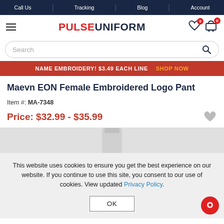Call Us | Tracking | Blog | Account
[Figure (logo): PULSEUNIFORM logo with hamburger menu, wishlist icon (0), and cart icon (0)]
Search
NAME EMBROIDERY! $3.49 EACH LINE   SHOP NOW
Maevn EON Female Embroidered Logo Pant
Item #: MA-7348
Price: $32.99 - $35.99
This website uses cookies to ensure you get the best experience on our website. If you continue to use this site, you consent to our use of cookies. View updated Privacy Policy.
OK